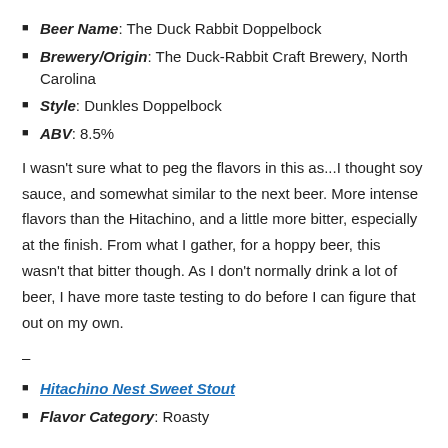Beer Name: The Duck Rabbit Doppelbock
Brewery/Origin: The Duck-Rabbit Craft Brewery, North Carolina
Style: Dunkles Doppelbock
ABV: 8.5%
I wasn't sure what to peg the flavors in this as...I thought soy sauce, and somewhat similar to the next beer.  More intense flavors than the Hitachino, and a little more bitter, especially at the finish.  From what I gather, for a hoppy beer, this wasn't that bitter though.  As I don't normally drink a lot of beer, I have more taste testing to do before I can figure that out on my own.
–
Hitachino Nest Sweet Stout
Flavor Category: Roasty